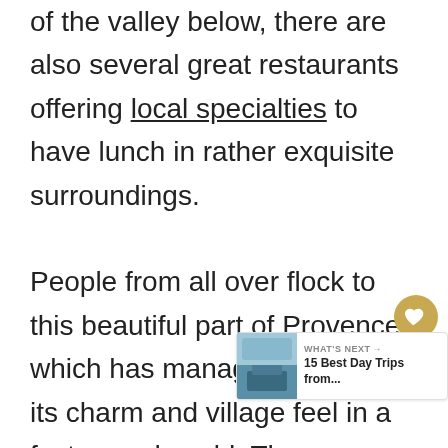of the valley below, there are also several great restaurants offering local specialties to have lunch in rather exquisite surroundings.

People from all over flock to this beautiful part of Provence, which has managed to retain its charm and village feel in a fast-paced world. There are several tours visiting the village from Nice, and you can more about visiting Moustiers-Sainte-